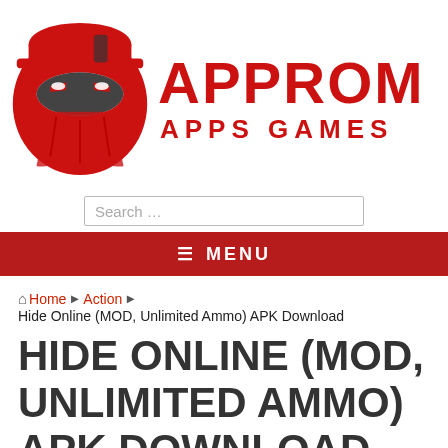[Figure (logo): APPROM Apps Games logo: red ninja/masked figure with red hard hat, bold red text APPROM and APPS GAMES]
Search ...
≡ MENU
Home ▶ Action ▶ Hide Online (MOD, Unlimited Ammo) APK Download
HIDE ONLINE (MOD, UNLIMITED AMMO) APK DOWNLOAD
Action  Adventure  Android games  admin